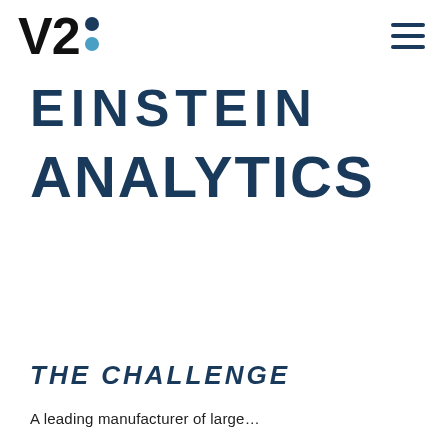V2: [logo with dots]
EINSTEIN ANALYTICS
THE CHALLENGE
A leading manufacturer of large…